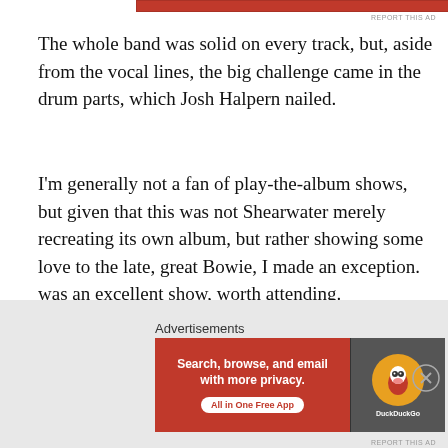[Figure (other): Red advertisement banner at top of page]
REPORT THIS AD
The whole band was solid on every track, but, aside from the vocal lines, the big challenge came in the drum parts, which Josh Halpern nailed.
I'm generally not a fan of play-the-album shows, but given that this was not Shearwater merely recreating its own album, but rather showing some love to the late, great Bowie, I made an exception.  was an excellent show, worth attending.
Meiburg reportedly was recording for some future use, so keep a lookout for that.
Advertisements
[Figure (other): DuckDuckGo advertisement banner: Search, browse, and email with more privacy. All in One Free App]
REPORT THIS AD